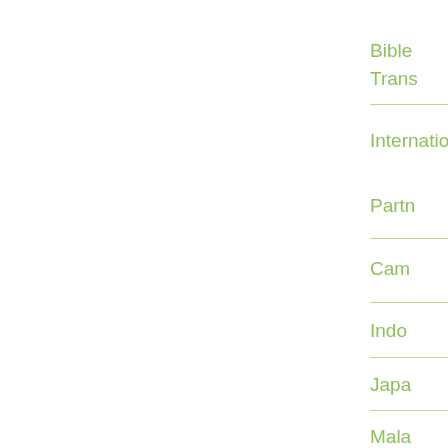Bible
Trans
Internatio
Partn
Cam
Indo
Japa
Mala
P